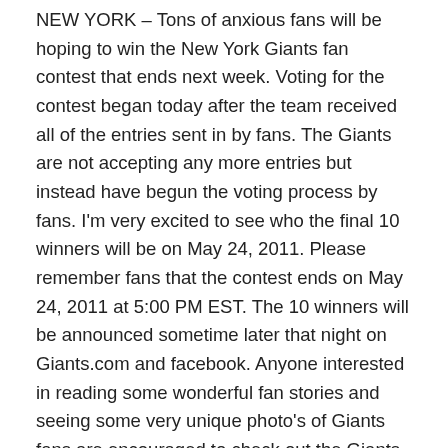NEW YORK – Tons of anxious fans will be hoping to win the New York Giants fan contest that ends next week. Voting for the contest began today after the team received all of the entries sent in by fans. The Giants are not accepting any more entries but instead have begun the voting process by fans. I'm very excited to see who the final 10 winners will be on May 24, 2011. Please remember fans that the contest ends on May 24, 2011 at 5:00 PM EST. The 10 winners will be announced sometime later that night on Giants.com and facebook. Anyone interested in reading some wonderful fan stories and seeing some very unique photo's of Giants fans are encouraged to check out the Giants facebook page at the following link http://on.fb.me/msbHyP and vote!
There are so many interesting stories to read that I think you will be surprised. This contest really knocks out two